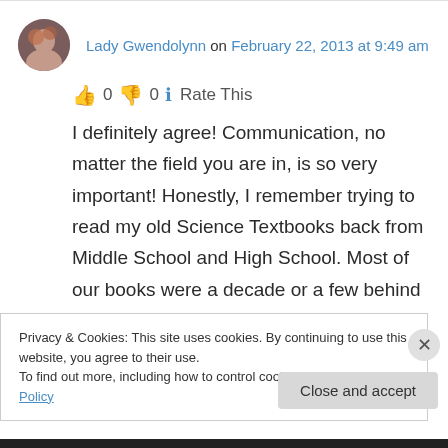[Figure (photo): Circular avatar photo of Lady Gwendolynn]
Lady Gwendolynn on February 22, 2013 at 9:49 am
👍 0 👎 0 ℹ Rate This
I definitely agree! Communication, no matter the field you are in, is so very important! Honestly, I remember trying to read my old Science Textbooks back from Middle School and High School. Most of our books were a decade or a few behind the times. Most books did not put me to sleep. I tried to read my homework chapters
Privacy & Cookies: This site uses cookies. By continuing to use this website, you agree to their use.
To find out more, including how to control cookies, see here: Cookie Policy